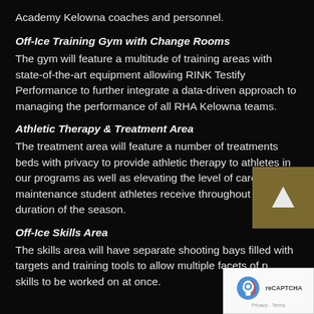Academy Kelowna coaches and personnel.
Off-Ice Training Gym with Change Rooms
The gym will feature a multitude of training areas with state-of-the-art equipment allowing RINK Testify Performance to further integrate a data-driven approach to managing the performance of all RHA Kelowna teams.
Athletic Therapy & Treatment Area
The treatment area will feature a number of treatments beds with privacy to provide athletic therapy to athletes in our programs as well as elevating the level of care and maintenance student athletes receive throughout the duration of the season.
Off-Ice Skills Area
The skills area will have separate shooting bays filled with targets and training tools to allow multiple facets of players skills to be worked on at once.